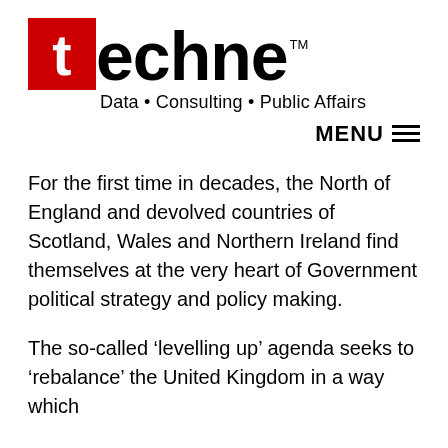[Figure (logo): Techne logo: red square with white 't' letter followed by 'echne' in black bold text, with trademark symbol. Tagline: Data · Consulting · Public Affairs]
MENU ☰
For the first time in decades, the North of England and devolved countries of Scotland, Wales and Northern Ireland find themselves at the very heart of Government political strategy and policy making.
The so-called 'levelling up' agenda seeks to 'rebalance' the United Kingdom in a way which